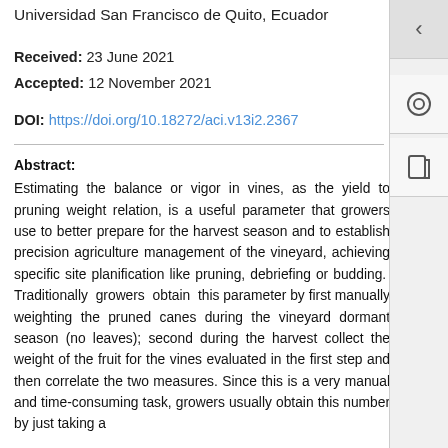Universidad San Francisco de Quito, Ecuador
Received: 23 June 2021
Accepted: 12 November 2021
DOI: https://doi.org/10.18272/aci.v13i2.2367
Abstract: Estimating the balance or vigor in vines, as the yield to pruning weight relation, is a useful parameter that growers use to better prepare for the harvest season and to establish precision agriculture management of the vineyard, achieving specific site planification like pruning, debriefing or budding. Traditionally growers obtain this parameter by first manually weighting the pruned canes during the vineyard dormant season (no leaves); second during the harvest collect the weight of the fruit for the vines evaluated in the first step and then correlate the two measures. Since this is a very manual and time-consuming task, growers usually obtain this number by just taking a